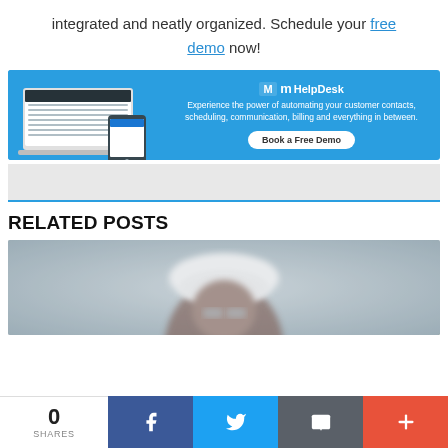integrated and neatly organized. Schedule your free demo now!
[Figure (screenshot): mHelpDesk advertisement banner with laptop/phone screenshot on left, logo and tagline on right, and 'Book a Free Demo' button]
RELATED POSTS
[Figure (photo): Blurred photo of a person wearing a white hard hat and safety glasses looking upward]
0 SHARES | Facebook share | Twitter share | Email share | More